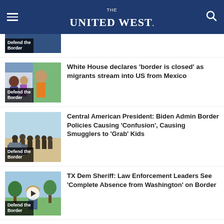THE UNITED WEST.
[Figure (screenshot): Partially visible article thumbnail with 'Defend the Border' label and partial headline]
White House declares 'border is closed' as migrants stream into US from Mexico
[Figure (photo): Article thumbnail showing migrants with 'Defend the Border' label]
Central American President: Biden Admin Border Policies Causing 'Confusion', Causing Smugglers to 'Grab' Kids
[Figure (photo): Article thumbnail with play button and 'Defend the Border' label]
TX Dem Sheriff: Law Enforcement Leaders See 'Complete Absence from Washington' on Border
[Figure (photo): Article thumbnail showing hands and tire with 'Defend the Border' label]
PHOTO: 166K Suspected Fentanyl Pills Discovered in Spare Tire